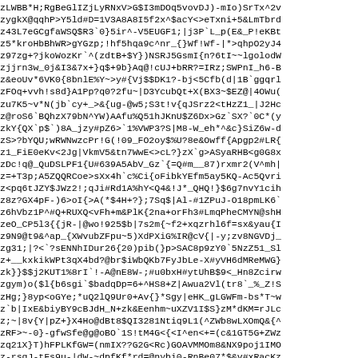zLWBB*H;RgBeGlIZjLyRNxV>G$I3mDOq5vovDJ)-mIo)SrTx^2v
zygkX@qqhP>Y5ld#D=1V3A8A8I5f2x^$acY<>eTxni+5&LmTbrd
z43L7eGCgfaWSQ$R3`0}5ir^-V5EUGF1;|j3P`L_p(E&_P!eKBt
z5*kroHbBhWR>gYGzp;!hf5hqa9c^nr_{}Wf!Wf-|*>qhpO2yJ4
z97zg+?jkoWozKr`^(zdtB+$Y})NSRJ5GsmI{n?6tI~~lgolodW
zjjrn3w_0j&I3&7x+}q$+9b}Aq@!cUJ+bRR?=IRz;SWPnI_h6-B
z&eoUv*6VK0{8bnlE%Y~>y#{Vj$$DK1?-bj<5Cfb(d|1B`ggqrl
zFOq+vvh!s8d}A1Pp?q0?2fu~|D3YcubQt+X(BX3~$EZ@|4OWu(
zu7K5~v*N(jb`cy+_>&{ug-@w5;S3t!v{qJSrz2<tHzZ1_|J2Hc
z@roS6`BQhzX79bN^YW)AAfu%Q51hJKnU$Z6Dx>Gz`SX?`0C*(y
zkY{QX`p$`)8A_jzy#pZ6>`1%VWP3?S|M8-W_eh*^&c}SiZ6w-d
zS>?bYQU;wRWNwzcPr!G(!09_FO2oy$%U?8e&Owff{Apgp2#LR{
z1_FiE0eKv<2Jg|VkmV5&tn7WwE<>cL?}zX`g>ASyaRHB<g0G8x
zDc!q@_QuDSLPF1{U#639A5AbV_Gz`{=Q#m__87)rxmr2(V^mh|
z=+T3p;A5ZQQRCoe>sXx4h`c%Ci{oFibkYEfm5ay5KQ-Ac5Qvri
z<pq6tJZY$JWz2!;qJi#Rd1A%hY<Q4&!J*_QHQ!}$6g7nvY1cih
z8z?GX4pF-)6>oI{>A(*$4H+?};7Sq$|Al-#1ZPuJ-O18pmLK6`
z6hVbz1P^#Q+RUXQ<vFh+m&PlK{2na+orFh3#LmqPheCMYN@shH
zeO_CP5l3{{jR-|@wo!925$b|7s2m{~f2+xqzrhl6f=sx&yau{I
z9N9@t9&^ap_{XWvubZFpu~5)XdPXiG%IR@cV{|-y;zv8NGVDj_
zg31;|?<`?sENNhIDur26{20)pib(}p>SAC8p9zY0`5NzZ51_Sl
z+__kxkikWPt3qX4bd?@br$iWbQKb7FyJbLe-X#yVH6dMReMWG}
zk}}$$j2KUT1%8rI`!-A@nE8W-;#u0bxH#ytUhB$9<_Hn8Zcirw
zgym)o($l{b6sgi`$badqDp=6+^HS8+Z|Awua2Vl(tr8`_%_Z!S
zHg;}8yp<oGYe;*uQ2lQ9Ur0+Av{}*Sgy|eHK_gLGWFm-bs*T~w
z`b|IxE&biyBY9cBJdH_N+zk&Eenhm~uXZV1I$S}zM*dKM=rJLc
z;~|8v{Y|pZ+}X4Ho@dBt8$QI3281Ntiq9L1(^ZWb8wLXOmQ&{^
zRF>~-0}-gfwSfe@g@oBO`1S!tM4G<{<I^en<+=(c&1GT5G+ZWz
zq21X}T)hFPLKfGW=(nmIX??G2G<Rc)GOAVMMOm8&NX9poj1IMO
z-rsgJ-tFs9u-|dW-~dpfKf*rd=@nybi0-RnBe07*$&v#xRacKz
za!~ztO*WkN^n1Oo0&c^FyuKq(B18LE+Qv>wU2c}#2|WQk&jay=
z4m)GRqD;x<6E!8uR9^rzS2amoAa6N>v}k1bO!KHnO6Jc`EV1T